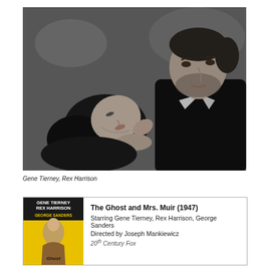[Figure (photo): Black and white film still of a man and woman in close romantic pose, the woman lying back with her head tilted up toward the man who leans over her, both in formal attire.]
Gene Tierney, Rex Harrison
[Figure (illustration): Movie information card with a vintage movie poster for 'The Ghost and Mrs. Muir' (1947) on the left showing yellow background with Gene Tierney, Rex Harrison, George Sanders text and a figure illustration, and movie details on the right.]